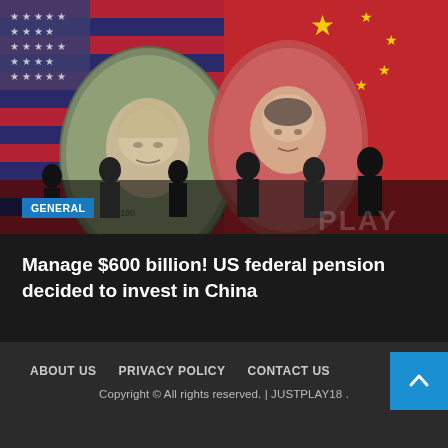[Figure (photo): Hero image showing US dollar bill and Chinese yuan/renminbi bill overlaid on American and Chinese flags, with silhouettes of people standing in the foreground. A 'PLAY' watermark is visible on the right side.]
GENERAL
Manage $600 billion! US federal pension decided to invest in China
ABOUT US   PRIVACY POLICY   CONTACT US
Copyright © All rights reserved. | JUSTPLAY18 .